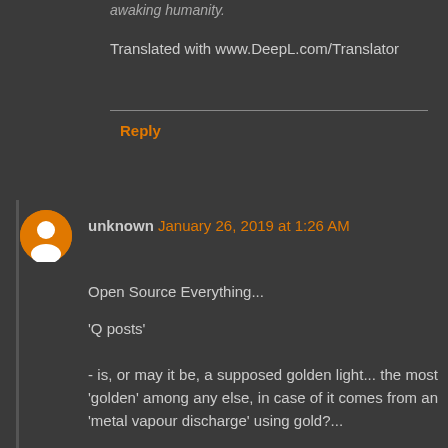awaking humanity.
Translated with www.DeepL.com/Translator
Reply
unknown January 26, 2019 at 1:26 AM
Open Source Everything...

'Q posts'

- is, or may it be, a supposed golden light... the most 'golden' among any else, in case of it comes from an 'metal vapour discharge' using gold?...

- do you know that there is already a scientific proof of an above described electrical discharge?

- do you know about 'Gold vapor laser'?...